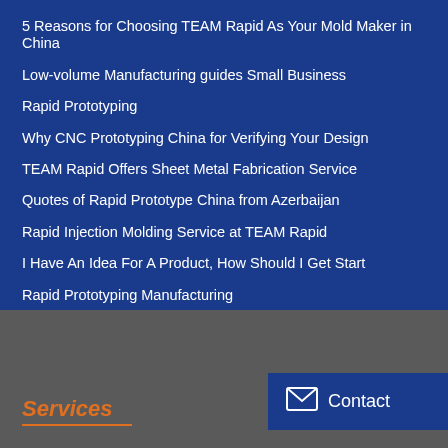5 Reasons for Choosing TEAM Rapid As Your Mold Maker in China
Low-volume Manufacturing guides Small Business
Rapid Prototyping
Why CNC Prototyping China for Verifying Your Design
TEAM Rapid Offers Sheet Metal Fabrication Service
Quotes of Rapid Prototype China from Azerbaijan
Rapid Injection Molding Service at TEAM Rapid
I Have An Idea For A Product, How Should I Get Start
Rapid Prototyping Manufacturing
Differences between Soft and Hard Tooling
Services
Contact